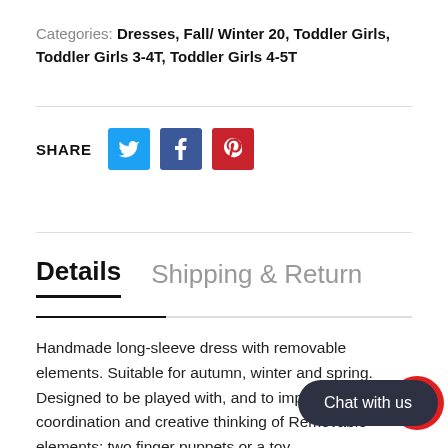Categories: Dresses, Fall/ Winter 20, Toddler Girls, Toddler Girls 3-4T, Toddler Girls 4-5T
[Figure (other): Social share buttons: Twitter (blue), Facebook (dark blue), Pinterest (red), with SHARE label]
Details    Shipping & Return
Handmade long-sleeve dress with removable elements. Suitable for autumn, winter and spring. Designed to be played with, and to improve fine motor coordination and creative thinking of Removable elements: two finger puppets or a toy.